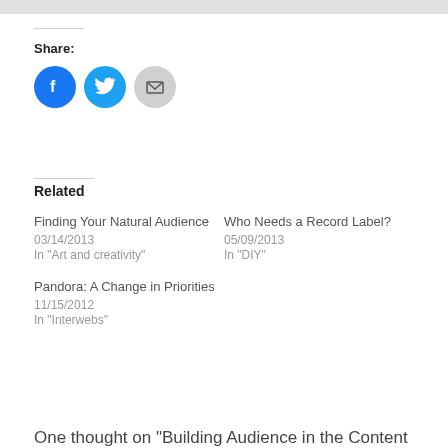[Figure (infographic): Social share buttons: Facebook (blue circle with f icon), Twitter (blue circle with bird icon), Email (grey circle with envelope icon)]
Related
Finding Your Natural Audience
03/14/2013
In "Art and creativity"
Who Needs a Record Label?
05/09/2013
In "DIY"
Pandora: A Change in Priorities
11/15/2012
In "Interwebs"
One thought on "Building Audience in the Content